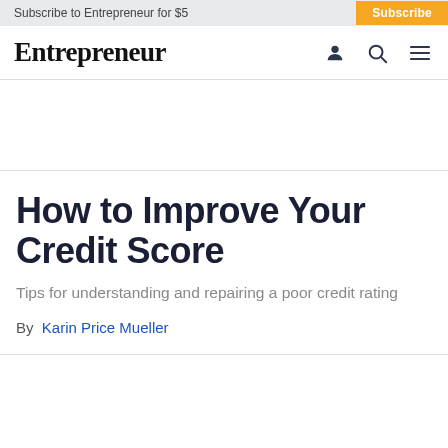Subscribe to Entrepreneur for $5   Subscribe
Entrepreneur
How to Improve Your Credit Score
Tips for understanding and repairing a poor credit rating
By  Karin Price Mueller